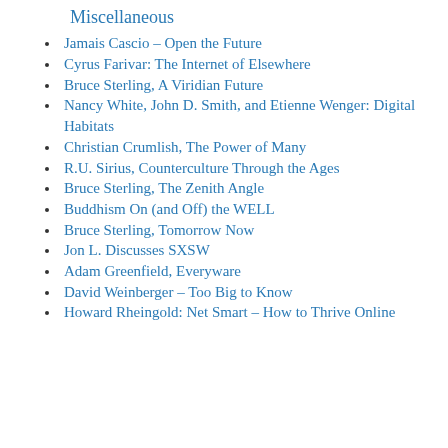Miscellaneous
Jamais Cascio – Open the Future
Cyrus Farivar: The Internet of Elsewhere
Bruce Sterling, A Viridian Future
Nancy White, John D. Smith, and Etienne Wenger: Digital Habitats
Christian Crumlish, The Power of Many
R.U. Sirius, Counterculture Through the Ages
Bruce Sterling, The Zenith Angle
Buddhism On (and Off) the WELL
Bruce Sterling, Tomorrow Now
Jon L. Discusses SXSW
Adam Greenfield, Everyware
David Weinberger – Too Big to Know
Howard Rheingold: Net Smart – How to Thrive Online